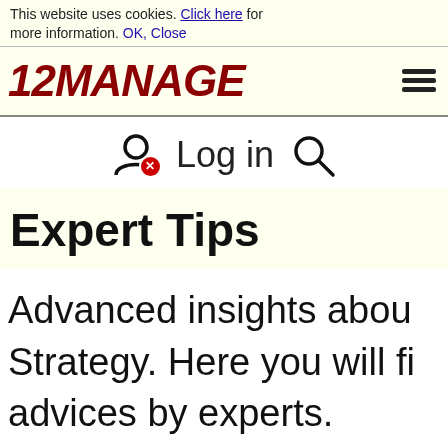This website uses cookies. Click here for more information. OK, Close
12MANAGE
Log in
Expert Tips
Advanced insights about Strategy. Here you will fi advices by experts.